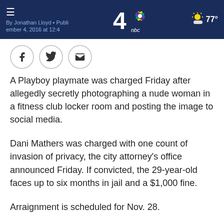By Jonathan Lloyd • Published November 4, 2016 • Updated on November 4, 2016 at 12:4...
A Playboy playmate was charged Friday after allegedly secretly photographing a nude woman in a fitness club locker room and posting the image to social media.
Dani Mathers was charged with one count of invasion of privacy, the city attorney's office announced Friday. If convicted, the 29-year-old faces up to six months in jail and a $1,000 fine.
Arraignment is scheduled for Nov. 28.
Prosecutors allege Mathers secretly snapped a photo of the nude 70-year-old woman in July while she was showering at